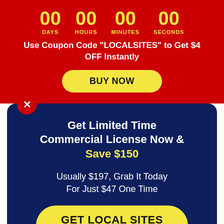[Figure (infographic): Countdown timer showing 00 DAYS, 00 HOURS, 00 MINUTES, 00 SECONDS in yellow on red background]
Use Coupon Code "LOCALSITES" to Get $4 OFF Instantly
BUY NOW
Get Limited Time Commercial License Now & Save $150
Usually $197, Grab It Today For Just $47 One Time
GET LOCAL SITES HUB NOW